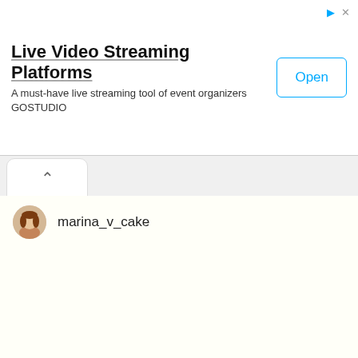[Figure (screenshot): Advertisement banner for Live Video Streaming Platforms - GOSTUDIO with Open button]
Live Video Streaming Platforms
A must-have live streaming tool of event organizers
GOSTUDIO
marina_v_cake
[Figure (photo): Close-up photo of a layered mille-feuille/Napoleon cake slice with flaky pastry layers, cream filling, and dark berries (blackberries or blueberries) on top, with another berry visible at the bottom right.]